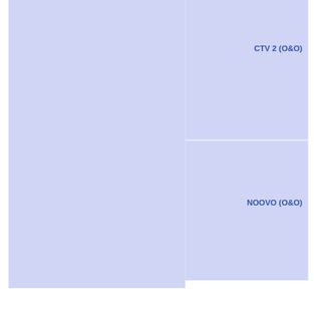|  | CTV 2 (O&O) |  |
|  | NOOVO (O&O) |  |